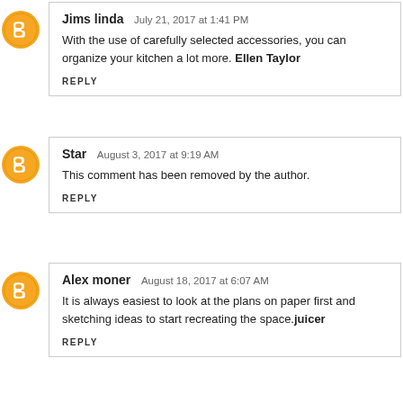Jims linda  July 21, 2017 at 1:41 PM
With the use of carefully selected accessories, you can organize your kitchen a lot more. Ellen Taylor
REPLY
Star  August 3, 2017 at 9:19 AM
This comment has been removed by the author.
REPLY
Alex moner  August 18, 2017 at 6:07 AM
It is always easiest to look at the plans on paper first and sketching ideas to start recreating the space.juicer
REPLY